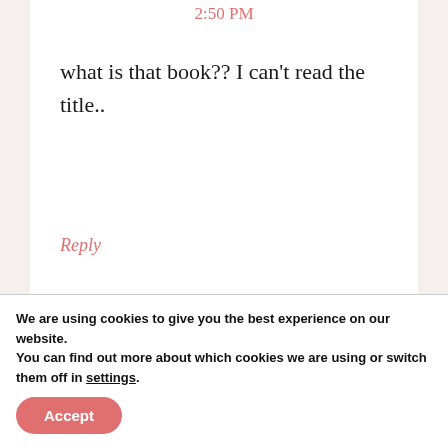2:50 PM
what is that book?? I can't read the title..
Reply
louise says
We are using cookies to give you the best experience on our website.
You can find out more about which cookies we are using or switch them off in settings.